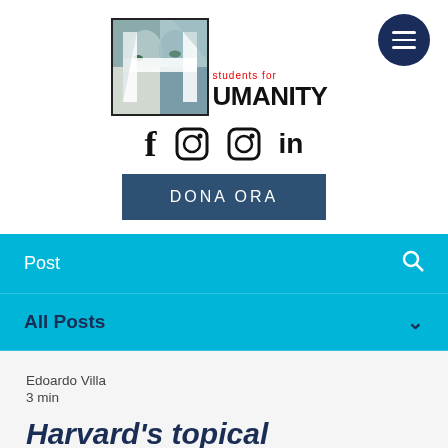[Figure (logo): Students for Humanity logo with stylized H containing faces, hamburger menu button, social media icons (Facebook, Instagram, Instagram, LinkedIn), and DONA ORA button]
Post
All Posts
Edoardo Villa
3 min
Harvard's topical